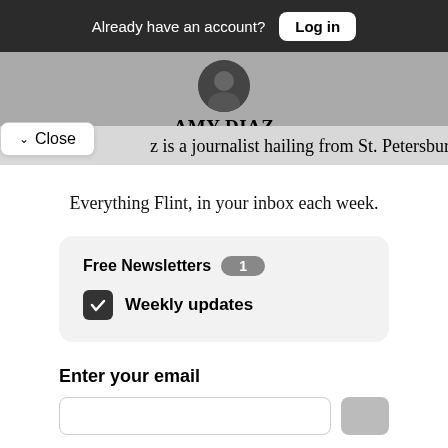Already have an account? Log in
AMY DIAZ
z is a journalist hailing from St. Petersburg, FL. She
Close
Everything Flint, in your inbox each week.
Free Newsletters 1
Weekly updates
Enter your email